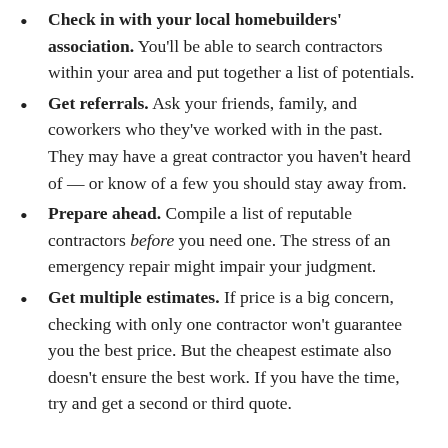Check in with your local homebuilders' association. You'll be able to search contractors within your area and put together a list of potentials.
Get referrals. Ask your friends, family, and coworkers who they've worked with in the past. They may have a great contractor you haven't heard of — or know of a few you should stay away from.
Prepare ahead. Compile a list of reputable contractors before you need one. The stress of an emergency repair might impair your judgment.
Get multiple estimates. If price is a big concern, checking with only one contractor won't guarantee you the best price. But the cheapest estimate also doesn't ensure the best work. If you have the time, try and get a second or third quote.